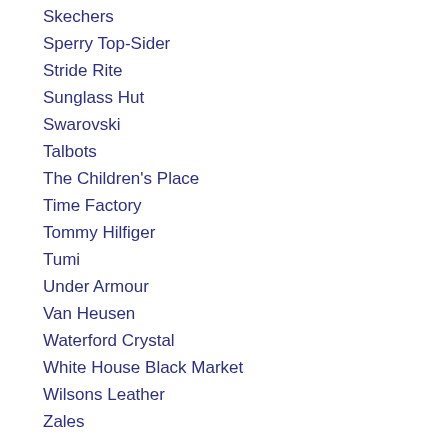Skechers
Sperry Top-Sider
Stride Rite
Sunglass Hut
Swarovski
Talbots
The Children's Place
Time Factory
Tommy Hilfiger
Tumi
Under Armour
Van Heusen
Waterford Crystal
White House Black Market
Wilsons Leather
Zales